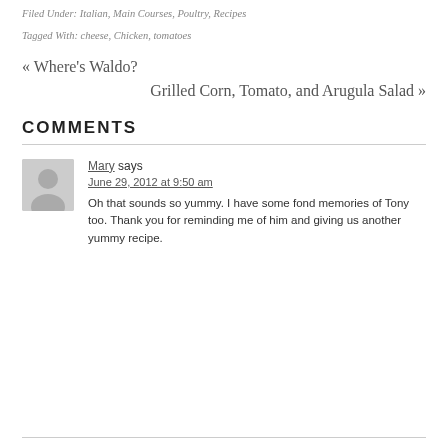Filed Under: Italian, Main Courses, Poultry, Recipes
Tagged With: cheese, Chicken, tomatoes
« Where's Waldo?
Grilled Corn, Tomato, and Arugula Salad »
COMMENTS
Mary says
June 29, 2012 at 9:50 am
Oh that sounds so yummy. I have some fond memories of Tony too. Thank you for reminding me of him and giving us another yummy recipe.